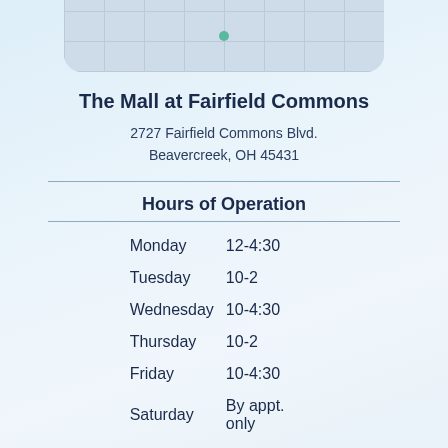[Figure (map): Partial map/aerial view of mall interior layout shown at top of page]
The Mall at Fairfield Commons
2727 Fairfield Commons Blvd.
Beavercreek, OH 45431
Hours of Operation
| Day | Hours |
| --- | --- |
| Monday | 12-4:30 |
| Tuesday | 10-2 |
| Wednesday | 10-4:30 |
| Thursday | 10-2 |
| Friday | 10-4:30 |
| Saturday | By appt. only |
| Sunday | By appt. only |